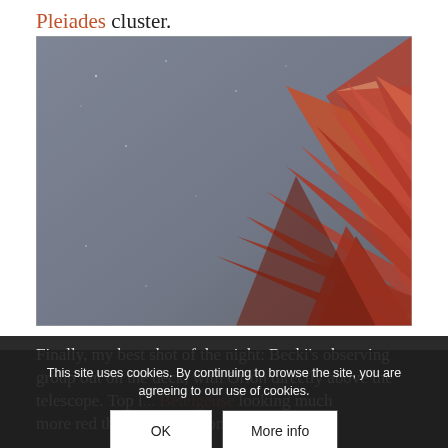Pleiades cluster.
[Figure (photo): Night sky photograph showing a reddish-orange angular wooden structure (roof or observatory building) against a dark grey sky with faint stars visible.]
Finally, my best shot of the night: Becki's observing group out on the deck, with Orion directly above the telescope. Top left is Betelgeuse looking much more red than I expected, in the bottom-right of the
This site uses cookies. By continuing to browse the site, you are agreeing to our use of cookies.